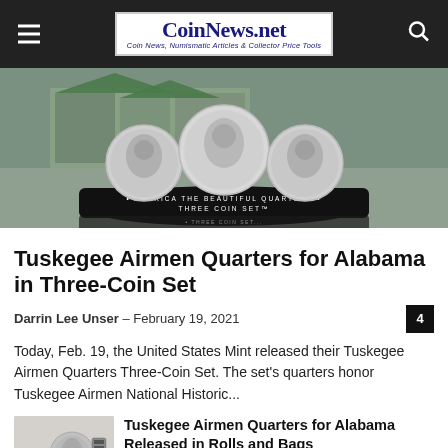CoinNews.net — Coin News, Numismatic Articles & Collector Price Tools
[Figure (photo): America the Beautiful Quarters Three-Coin Set promotional image featuring three quarters against a building backdrop with black display stand]
Tuskegee Airmen Quarters for Alabama in Three-Coin Set
Darrin Lee Unser – February 19, 2021
Today, Feb. 19, the United States Mint released their Tuskegee Airmen Quarters Three-Coin Set. The set's quarters honor Tuskegee Airmen National Historic...
[Figure (photo): Tuskegee Airmen quarters coin and rolls image thumbnail for related article]
Tuskegee Airmen Quarters for Alabama Released in Rolls and Bags
February 8, 2021